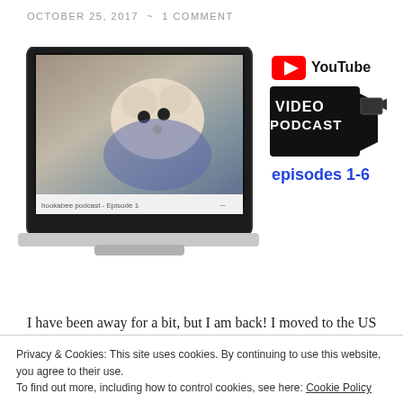OCTOBER 25, 2017  ~  1 COMMENT
[Figure (screenshot): A laptop displaying a video thumbnail of a woman holding a crocheted animal, labeled 'hookabee podcast - Episode 1', alongside a YouTube Video Podcast badge showing 'episodes 1-6']
I have been away for a bit, but I am back! I moved to the US in the new year and didn't have a work permit
Privacy & Cookies: This site uses cookies. By continuing to use this website, you agree to their use.
To find out more, including how to control cookies, see here: Cookie Policy
Close and accept
usually watch on your home the time)